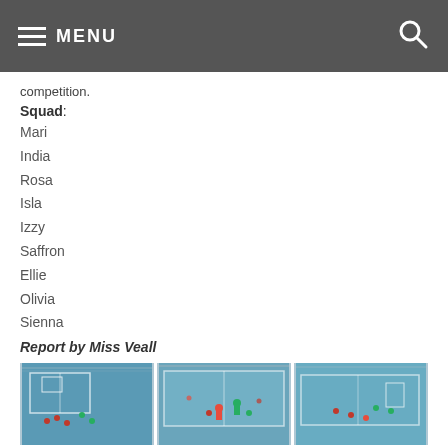MENU
competition.
Squad:
Mari
India
Rosa
Isla
Izzy
Saffron
Ellie
Olivia
Sienna
Report by Miss Veall
[Figure (photo): Three side-by-side photos of an indoor handball/football competition on a blue court]
[Figure (photo): Partial photo at bottom showing indoor sports hall with players]